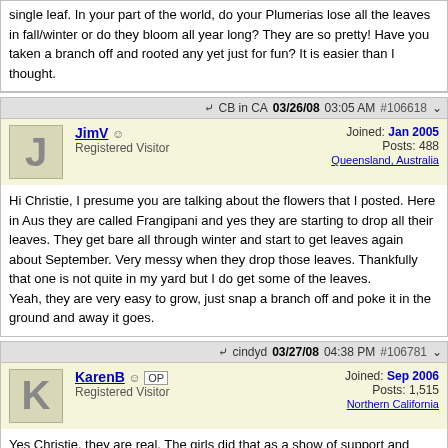single leaf. In your part of the world, do your Plumerias lose all the leaves in fall/winter or do they bloom all year long? They are so pretty! Have you taken a branch off and rooted any yet just for fun? It is easier than I thought.
CB in CA  03/26/08 03:05 AM  #106618
JimV  Registered Visitor  Joined: Jan 2005  Posts: 488  Queensland, Australia
Hi Christie, I presume you are talking about the flowers that I posted. Here in Aus they are called Frangipani and yes they are starting to drop all their leaves. They get bare all through winter and start to get leaves again about September. Very messy when they drop those leaves. Thankfully that one is not quite in my yard but I do get some of the leaves.
Yeah, they are very easy to grow, just snap a branch off and poke it in the ground and away it goes.
cindyd  03/27/08 04:38 PM  #106781
KarenB  OP  Registered Visitor  Joined: Sep 2006  Posts: 1,515  Northern California
Yes Christie, they are real. The girls did that as a show of support and understanding of all that we go through on a daily basis and also to be able to "spread the word" when people ask.